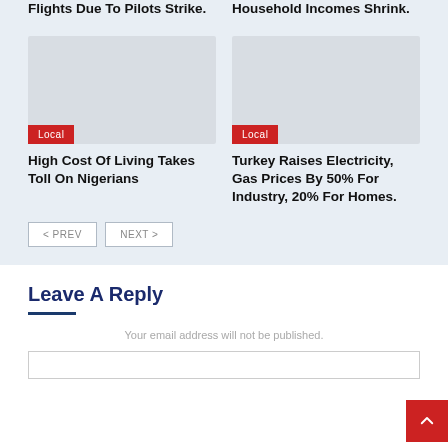Flights Due To Pilots Strike.
Household Incomes Shrink.
[Figure (photo): Placeholder image for article about High Cost Of Living]
Local
High Cost Of Living Takes Toll On Nigerians
[Figure (photo): Placeholder image for article about Turkey electricity prices]
Local
Turkey Raises Electricity, Gas Prices By 50% For Industry, 20% For Homes.
< PREV   NEXT >
Leave A Reply
Your email address will not be published.